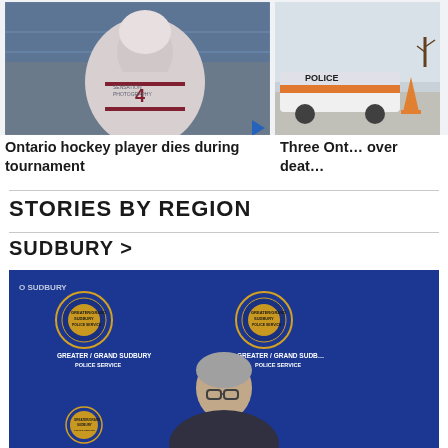[Figure (photo): Hockey player in white jersey with maroon accents and helmet, holding a stick, standing in front of a rink fence. A blue play button triangle is visible in the lower right corner of the image.]
Ontario hockey player dies during tournament
[Figure (photo): Police car with orange and white police markings visible partially on the right side of the frame.]
Three Ont… over deat…
STORIES BY REGION
SUDBURY >
[Figure (photo): Press conference background with Greater Grand Sudbury Police Service logo/badge repeated. A person with gray hair and glasses is partially visible in the foreground.]